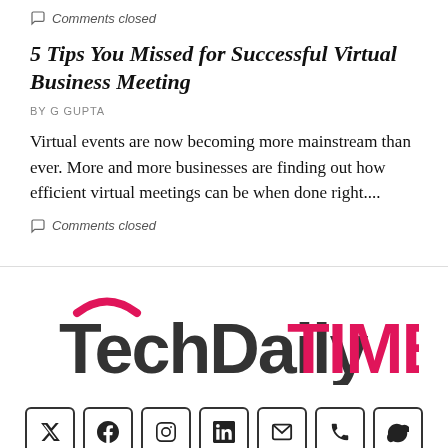Comments closed
5 Tips You Missed for Successful Virtual Business Meeting
BY G GUPTA
Virtual events are now becoming more mainstream than ever. More and more businesses are finding out how efficient virtual meetings can be when done right....
Comments closed
[Figure (logo): TechDailyTIMES logo with pink arc over T, TechDaily in dark grey, TIMES in pink/red]
[Figure (infographic): Social media icons in rounded square borders: Twitter, Facebook, Instagram, LinkedIn, Email, Phone, Skype]